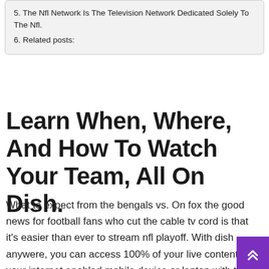5. The Nfl Network Is The Television Network Dedicated Solely To The Nfl.
6. Related posts:
Learn When, Where, And How To Watch Your Team, All On Dish.
What to expect from the bengals vs. On fox the good news for football fans who cut the cable tv cord is that it's easier than ever to stream nfl playoff. With dish anywere, you can access 100% of your live content on your internet enabled mobile device or laptop with the dish anywhere app.